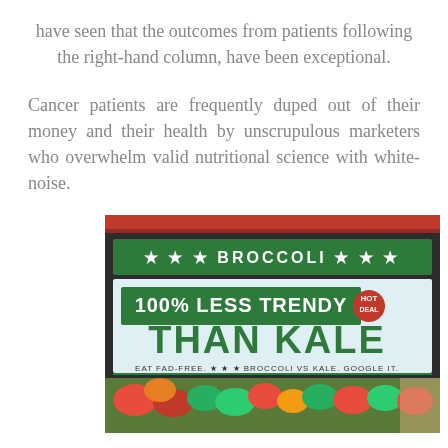have seen that the outcomes from patients following the right-hand column, have been exceptional.
Cancer patients are frequently duped out of their money and their health by unscrupulous marketers who overwhelm valid nutritional science with white-noise.
[Figure (photo): A grocery store sign for broccoli reading '100% LESS TRENDY THAN KALE' with stars and text 'EAT FAD-FREE. BROCCOLI VS KALE. GOOGLE IT.' on a green and white background with produce visible below.]